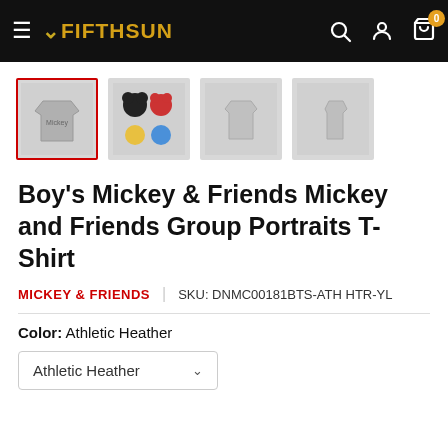Fifth Sun — navigation header with logo, search, account, and cart icons
[Figure (photo): Four product thumbnail images of a gray Mickey & Friends Group Portraits T-Shirt; first thumbnail is selected with a red border]
Boy's Mickey & Friends Mickey and Friends Group Portraits T-Shirt
MICKEY & FRIENDS | SKU: DNMC00181BTS-ATH HTR-YL
Color: Athletic Heather
Athletic Heather (dropdown)